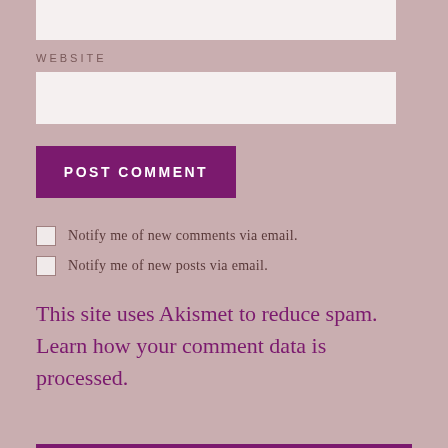[Figure (screenshot): Top partial input box visible at top of page]
WEBSITE
[Figure (screenshot): Website input text field box]
POST COMMENT
Notify me of new comments via email.
Notify me of new posts via email.
This site uses Akismet to reduce spam. Learn how your comment data is processed.